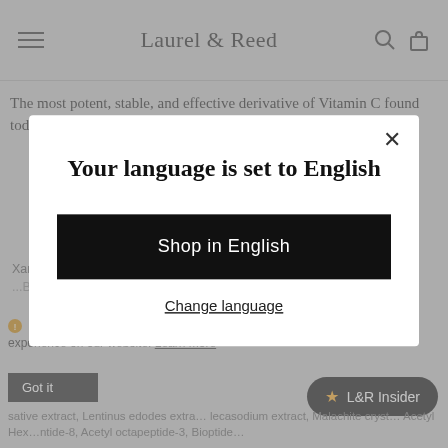Laurel & Reed
The most potent, stable, and effective derivative of Vitamin C found today. The most bioavailable form of Vitamin C on the...
Your language is set to English
Shop in English
Change language
Xanthum gum,S.stearoyl lactylate,Isoamyl cocoate, Bambusa...
This website uses cookies to ensure you get the best experience on our website. Learn more
Got it
L&R Insider